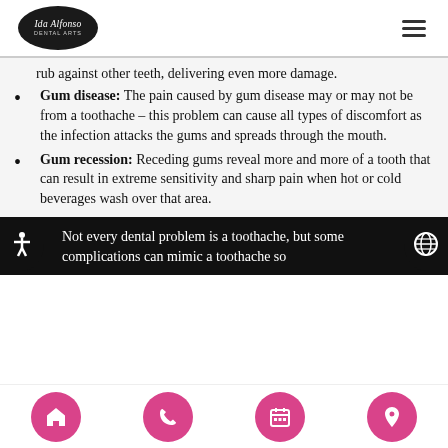Ida Alfonso Dental Arts
rub against other teeth, delivering even more damage.
Gum disease: The pain caused by gum disease may or may not be from a toothache – this problem can cause all types of discomfort as the infection attacks the gums and spreads through the mouth.
Gum recession: Receding gums reveal more and more of a tooth that can result in extreme sensitivity and sharp pain when hot or cold beverages wash over that area.
Not every dental problem is a toothache, but some complications can mimic a toothache so
Home | Phone | Calendar | Location